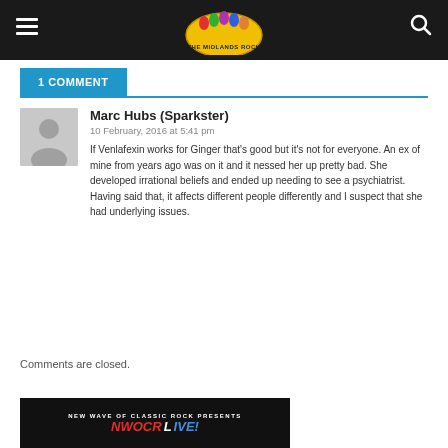[Figure (logo): The Midlands Rock website header with logo and navigation icons (hamburger menu left, search icon right) on dark background]
1 COMMENT
Marc Hubs (Sparkster)
10 February, 2016 at 5:41 pm
If Venlafexin works for Ginger that's good but it's not for everyone. An ex of mine from years ago was on it and it nessed her up pretty bad. She developed irrational beliefs and ended up needing to see a psychiatrist. Having said that, it affects different people differently and I suspect that she had underlying issues.
Comments are closed.
[Figure (screenshot): Footer banner: NEW WAVE OF CLASSIC ROCK PRESENTS NWOCR LIVE!]